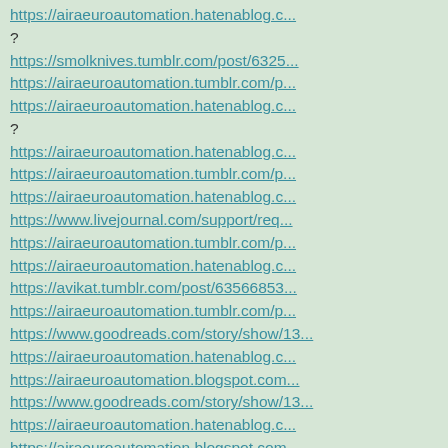https://airaeuroautomation.hatenablog.c...?
https://smolknives.tumblr.com/post/6325...
https://airaeuroautomation.tumblr.com/p...
https://airaeuroautomation.hatenablog.c...?
https://airaeuroautomation.hatenablog.c...
https://airaeuroautomation.tumblr.com/p...
https://airaeuroautomation.hatenablog.c...
https://www.livejournal.com/support/req...
https://airaeuroautomation.tumblr.com/p...
https://airaeuroautomation.hatenablog.c...
https://avikat.tumblr.com/post/63566853...
https://airaeuroautomation.tumblr.com/p...
https://www.goodreads.com/story/show/13...
https://airaeuroautomation.hatenablog.c...
https://airaeuroautomation.blogspot.com...
https://www.goodreads.com/story/show/13...
https://airaeuroautomation.hatenablog.c...
https://airaeuroautomation.blogspot.com...
https://sites.google.com/view/valve-man...
https://airaeuroautomation.hatenablog.c...
https://airaeuroautomation.blogspot.com...
https://airaeuro.tumblr.com/post/637458...
https://airaeuroautomation.hatenablog.c...